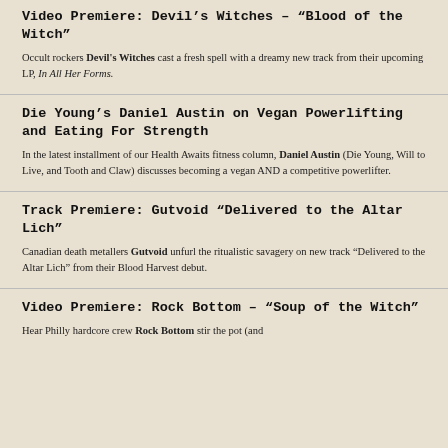Video Premiere: Devil's Witches – "Blood of the Witch"
Occult rockers Devil's Witches cast a fresh spell with a dreamy new track from their upcoming LP, In All Her Forms.
Die Young's Daniel Austin on Vegan Powerlifting and Eating For Strength
In the latest installment of our Health Awaits fitness column, Daniel Austin (Die Young, Will to Live, and Tooth and Claw) discusses becoming a vegan AND a competitive powerlifter.
Track Premiere: Gutvoid “Delivered to the Altar Lich”
Canadian death metallers Gutvoid unfurl the ritualistic savagery on new track "Delivered to the Altar Lich" from their Blood Harvest debut.
Video Premiere: Rock Bottom – “Soup of the Witch”
Hear Philly hardcore crew Rock Bottom stir the pot (and